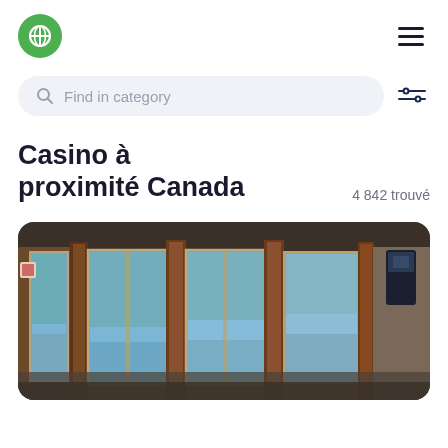[Figure (logo): Green circular logo with white map/location icon]
[Figure (other): Hamburger menu icon (three horizontal lines)]
Find in category
[Figure (other): Filter/sliders icon]
Casino à proximité Canada
4 842 trouvé
[Figure (photo): Interior photo of a casino entrance with wooden frames and glass doors, blue light visible through the doors]